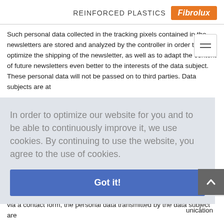REINFORCED PLASTICS Fibrolux
Such personal data collected in the tracking pixels contained in the newsletters are stored and analyzed by the controller in order to optimize the shipping of the newsletter, as well as to adapt the content of future newsletters even better to the interests of the data subject. These personal data will not be passed on to third parties. Data subjects are at [partially obscured] consent [partially obscured] n, these [partially obscured] d [partially obscured] tter as a [partially obscured] les a [partially obscured] unication [partially obscured]
In order to optimize our website for you and to be able to continuously improve it, we use cookies. By continuing to use the website, you agree to the use of cookies.
Got it!
via a contact form, the personal data transmitted by the data subject are